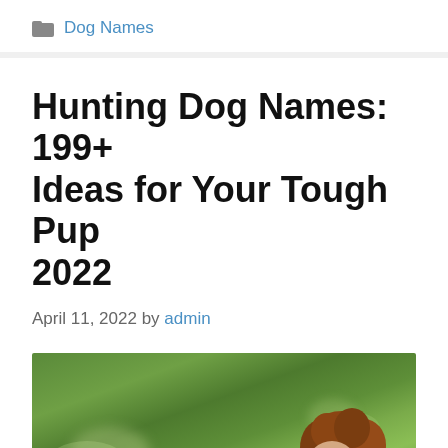Dog Names
Hunting Dog Names: 199+ Ideas for Your Tough Pup 2022
April 11, 2022 by admin
[Figure (photo): A woman with curly red-brown hair lying on green grass, smiling and cuddling with a dark-colored dog. The scene is outdoors on a sunny day.]